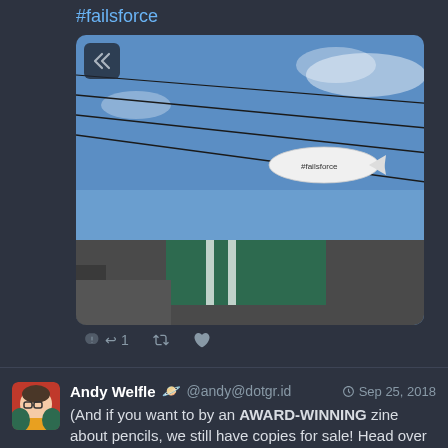#failsforce
[Figure (photo): Photo of a blimp in a blue sky above power lines and a green building roof. The blimp has '#failsforce' written on it.]
↩ 1  🔁  ★
Andy Welfle 🪐 @andy@dotgr.id  Sep 25, 2018
(And if you want to by an AWARD-WINNING zine about pencils, we still have copies for sale! Head over to erasable.us/plumbago )
Plumbago Magazine
A bi-annual print companion to the Erasable Podcast